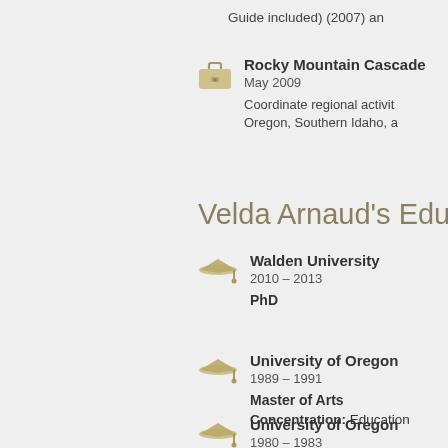Guide included) (2007) an
Rocky Mountain Cascade
May 2009
Coordinate regional activit… Oregon, Southern Idaho, a…
Velda Arnaud's Educa
Walden University
2010 – 2013
PhD
University of Oregon
1989 – 1991
Master of Arts
Concentration: Education
University of Oregon
1980 – 1983